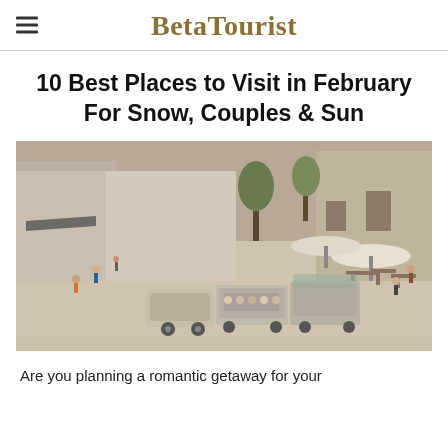BetaTourist
10 Best Places to Visit in February For Snow, Couples & Sun
[Figure (photo): Aerial view of a European plaza with a small tourist tram, pedestrians, outdoor cafe seating with umbrellas, and historic stone buildings]
Are you planning a romantic getaway for your